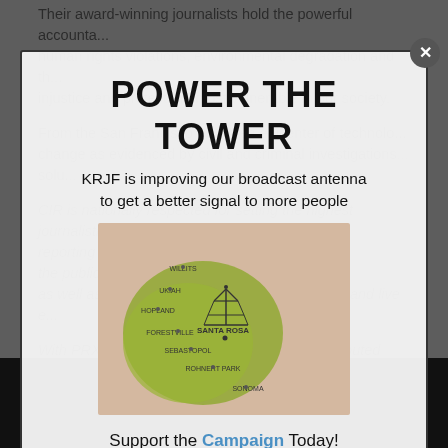Their award-winning journalists hold the powerful accountable, exposing human rights violations, environmental degradation and th... injustice and protect the most vulnerable in our society.
From the San Francisco Bay Area epicenter of technolo... change as evidenced by civil and criminal investigations... solu...
CIR is nationally respected for setting the highest journalisti... reporting s... with numerous o... engage with the public and track results. To reach a bro... as well as for print, television, radio/audio, video and live e...
With PRX, CIR co-produces this nationally distributed "Rev... as well as stories from public radio stations and a wide ran...
www.reveal...
POWER THE TOWER
KRJF is improving our broadcast antenna to get a better signal to more people
[Figure (map): Map of Northern California region showing broadcast coverage area with location labels including Willits, Ukiah, Hopland, Forestville, Santa Rosa, Sebastopol, Rohnert Park, and others. A broadcast tower icon is shown near Santa Rosa. The coverage area is shaded in olive/green.]
Support the Campaign Today!